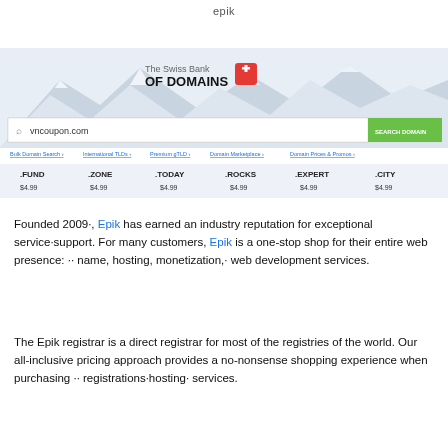epik
[Figure (screenshot): Epik.com website screenshot showing 'The Swiss Bank OF DOMAINS' branding with Swiss cross logo, mountain background, search bar with 'vncoupon.com' query and green SEARCH DOMAIN button, navigation links, and TLD pricing bar showing .FUND, .ZONE, .TODAY, .ROCKS, .EXPERT, .CITY all at $4.99]
Founded 2009·, Epik has earned an industry reputation for exceptional service·support. For many customers, Epik is a one-stop shop for their entire web presence: ·· name, hosting, monetization,· web development services.
The Epik registrar is a direct registrar for most of the registries of the world. Our all-inclusive pricing approach provides a no-nonsense shopping experience when purchasing ·· registrations·hosting· services.